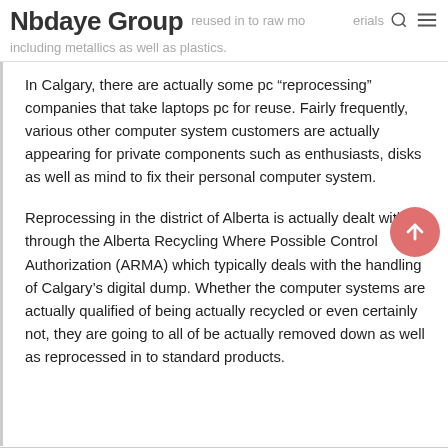Nbdaye Group — reused in to raw materials including metallics as well as plastics.
In Calgary, there are actually some pc “reprocessing” companies that take laptops pc for reuse. Fairly frequently, various other computer system customers are actually appearing for private components such as enthusiasts, disks as well as mind to fix their personal computer system.
Reprocessing in the district of Alberta is actually dealt with through the Alberta Recycling Where Possible Control Authorization (ARMA) which typically deals with the handling of Calgary’s digital dump. Whether the computer systems are actually qualified of being actually recycled or even certainly not, they are going to all of be actually removed down as well as reprocessed in to standard products.